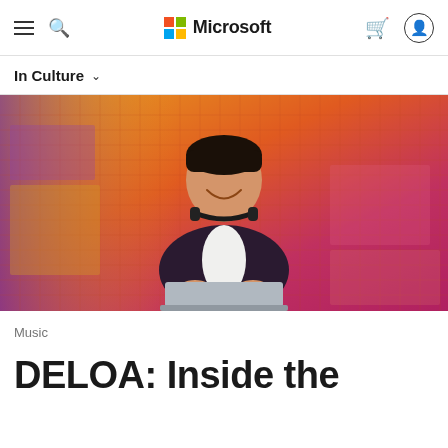Microsoft
In Culture
[Figure (photo): A smiling man in a dark blazer with headphones around his neck, standing behind a laptop/tablet at what appears to be a DJ setup, with a colorful orange and purple mesh/lattice background.]
Music
DELOA: Inside the